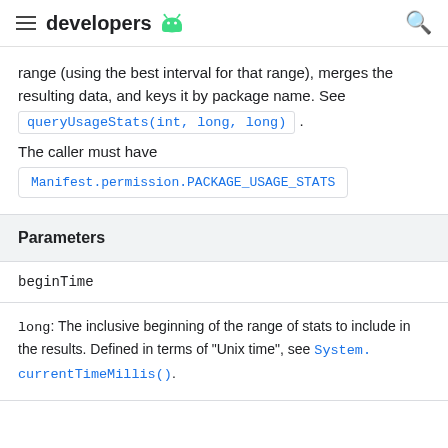developers
range (using the best interval for that range), merges the resulting data, and keys it by package name. See queryUsageStats(int, long, long).
The caller must have
Manifest.permission.PACKAGE_USAGE_STATS
Parameters
beginTime
long: The inclusive beginning of the range of stats to include in the results. Defined in terms of "Unix time", see System.currentTimeMillis().